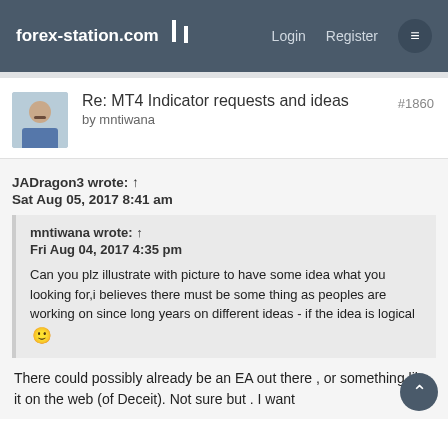forex-station.com | Login | Register
Re: MT4 Indicator requests and ideas
by mntiwana
#1860
JADragon3 wrote: ↑
Sat Aug 05, 2017 8:41 am
mntiwana wrote: ↑
Fri Aug 04, 2017 4:35 pm
Can you plz illustrate with picture to have some idea what you looking for,i believes there must be some thing as peoples are working on since long years on different ideas - if the idea is logical 🙂
There could possibly already be an EA out there , or something like it on the web (of Deceit). Not sure but . I want